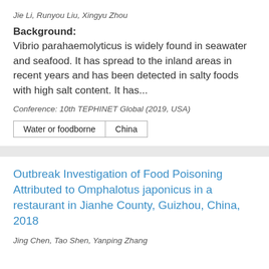Jie Li, Runyou Liu, Xingyu Zhou
Background:
Vibrio parahaemolyticus is widely found in seawater and seafood. It has spread to the inland areas in recent years and has been detected in salty foods with high salt content. It has...
Conference: 10th TEPHINET Global (2019, USA)
Water or foodborne
China
Outbreak Investigation of Food Poisoning Attributed to Omphalotus japonicus in a restaurant in Jianhe County, Guizhou, China, 2018
Jing Chen, Tao Shen, Yanping Zhang